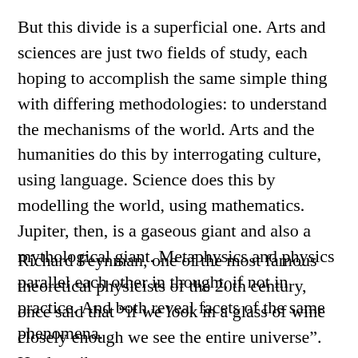But this divide is a superficial one. Arts and sciences are just two fields of study, each hoping to accomplish the same simple thing with differing methodologies: to understand the mechanisms of the world. Arts and the humanities do this by interrogating culture, using language. Science does this by modelling the world, using mathematics. Jupiter, then, is a gaseous giant and also a mythological giant. Metaphysics and physics parallel each other in thought, if not in practice. And both reveal facets of the same phenomena.
Richard Feynman, one of the most famous theoretical physicists of the 20th century, once said that “if we look in a glass of wine closely enough we see the entire universe”. He describes